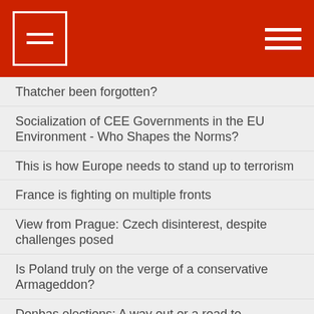Thatcher been forgotten?
Socialization of CEE Governments in the EU Environment - Who Shapes the Norms?
This is how Europe needs to stand up to terrorism
France is fighting on multiple fronts
View from Prague: Czech disinterest, despite challenges posed
Is Poland truly on the verge of a conservative Armageddon?
Donbas elections: A way out or a road to nowhere?
What can the EU do to contain the risk of the “Brexit”?
Environmental Policy in the Doldrums: The Climate (of) Deadlock in the U.S. Congress